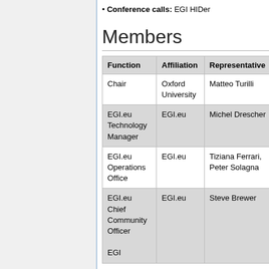Conference calls: EGI HIDer
Members
| Function | Affiliation | Representative |
| --- | --- | --- |
| Chair | Oxford University | Matteo Turilli |
| EGI.eu Technology Manager | EGI.eu | Michel Drescher |
| EGI.eu Operations Office | EGI.eu | Tiziana Ferrari, Peter Solagna |
| EGI.eu Chief Community Officer
EGI | EGI.eu | Steve Brewer |